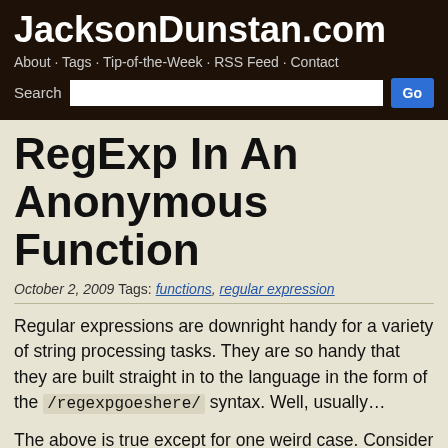JacksonDunstan.com
About · Tags · Tip-of-the-Week · RSS Feed · Contact
RegExp In An Anonymous Function
October 2, 2009 Tags: functions, regular expression
Regular expressions are downright handy for a variety of string processing tasks. They are so handy that they are built straight in to the language in the form of the /regexpgoeshere/ syntax. Well, usually…
The above is true except for one weird case. Consider